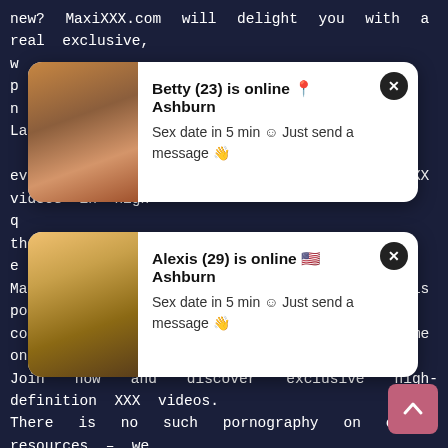new? MaxiXXX.com will delight you with a real exclusive, w...ur p...th n...ul La...ut everything and start watching HD XXX videos in high q...th th...s, e...y MaxiXXX.com. Watching XXX videos is possible at a convenient time – no need to waste time on registration. Join now and discover exclusive high-definition XXX videos. There is no such pornography on other resources – we publish new XXX videos daily. Do you want to see hot mulattos, skinny girls with big tits, Latinas with delicious asses? MaxiXXX.com offers free access to HD quality XXX videos material. Come in now with a plunge into the world of debauchery and lust, which is only possible. Free videos every day is what MaxiXXX.com has to offer. We a...
[Figure (screenshot): Popup notification: Betty (23) is online in Ashburn. Sex date in 5 min. Just send a message. Shows thumbnail of a woman.]
[Figure (screenshot): Popup notification: Alexis (29) is online in Ashburn. Sex date in 5 min. Just send a message. Shows thumbnail of a woman.]